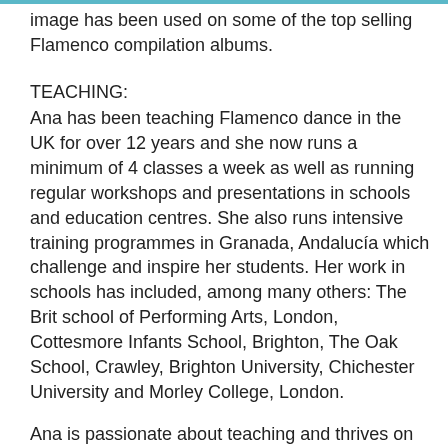image has been used on some of the top selling Flamenco compilation albums.
TEACHING:
Ana has been teaching Flamenco dance in the UK for over 12 years and she now runs a minimum of 4 classes a week as well as running regular workshops and presentations in schools and education centres. She also runs intensive training programmes in Granada, Andalucía which challenge and inspire her students. Her work in schools has included, among many others: The Brit school of Performing Arts, London, Cottesmore Infants School, Brighton, The Oak School, Crawley, Brighton University, Chichester University and Morley College, London.
Ana is passionate about teaching and thrives on nurturing individual achievement and progress